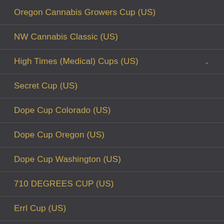Oregon Cannabis Growers Cup (US)
NW Cannabis Classic (US)
High Times (Medical) Cups (US)
Secret Cup (US)
Dope Cup Colorado (US)
Dope Cup Oregon (US)
Dope Cup Washington (US)
710 DEGREES CUP (US)
Errl Cup (US)
Jack Herer Cup (US)
Cannabis Business Awards (US)